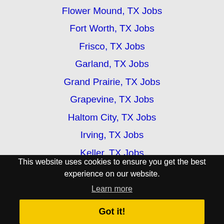Flower Mound, TX Jobs
Fort Worth, TX Jobs
Frisco, TX Jobs
Garland, TX Jobs
Grand Prairie, TX Jobs
Grapevine, TX Jobs
Haltom City, TX Jobs
Irving, TX Jobs
Keller, TX Jobs
Lewisville, TX Jobs (partially obscured)
Mansfield, TX Jobs (partially obscured)
McKinney, TX Jobs (partially obscured)
Mesquite, TX Jobs (partially obscured)
Rowlett, TX Jobs (partially obscured)
The Colony, TX Jobs (partially obscured)
This website uses cookies to ensure you get the best experience on our website.
Learn more
Got it!